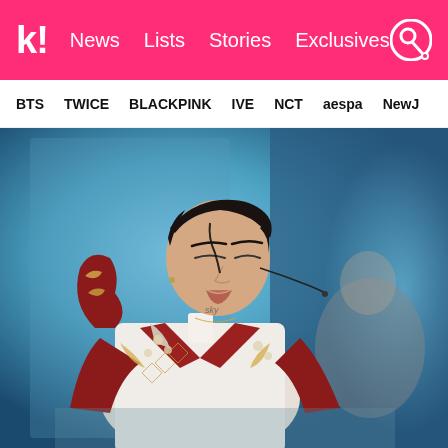k! News Lists Stories Exclusives
BTS TWICE BLACKPINK IVE NCT aespa NewJ
[Figure (photo): K-pop performer on stage wearing an ornate red and white embroidered jacket with gold detailing, head tilted back with eyes closed, headset microphone visible, performing on stage with blue lighting. A blurred performer visible in the background on the right.]